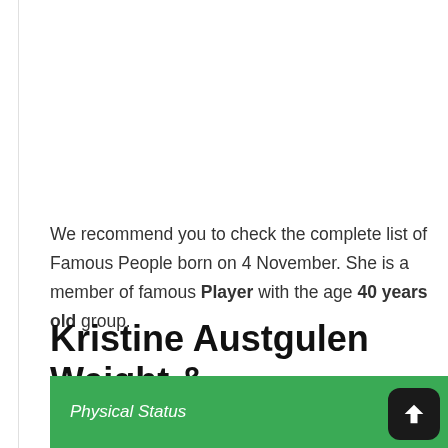We recommend you to check the complete list of Famous People born on 4 November. She is a member of famous Player with the age 40 years old group.
Kristine Austgulen Weight & Measurements
| Physical Status |
| --- |